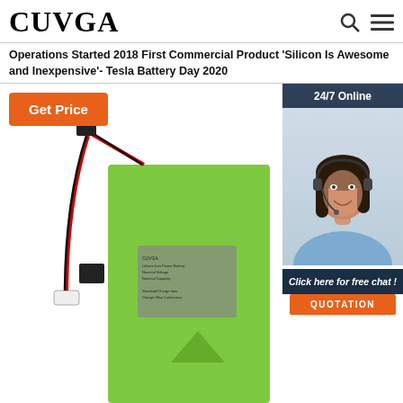CUVGA
Operations Started 2018 First Commercial Product 'Silicon Is Awesome and Inexpensive'- Tesla Battery Day 2020
Get Price
[Figure (photo): Green lithium battery pack with black wiring connector and label, photographed on white background]
[Figure (photo): Customer service representative woman with headset smiling, with 24/7 Online banner and Click here for free chat / QUOTATION button overlay]